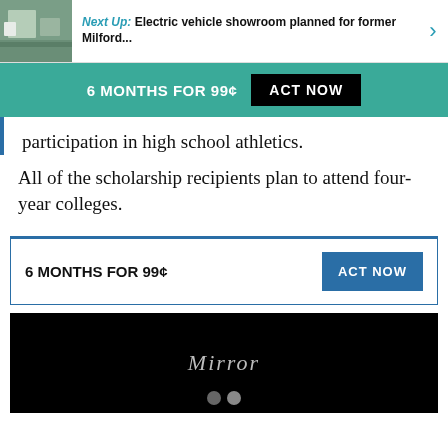Next Up: Electric vehicle showroom planned for former Milford...
6 MONTHS FOR 99¢  ACT NOW
participation in high school athletics.
All of the scholarship recipients plan to attend four-year colleges.
6 MONTHS FOR 99¢  ACT NOW
[Figure (screenshot): Dark video thumbnail with text 'Mirror' and two pagination dots at bottom]